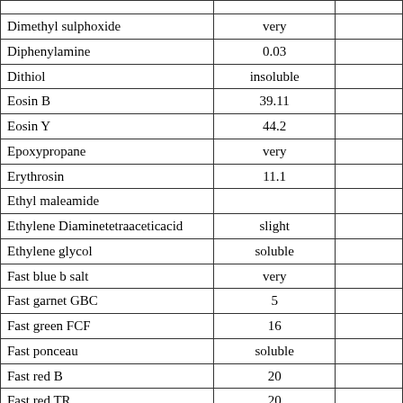| Dimethyl sulphoxide | very |  |
| Diphenylamine | 0.03 |  |
| Dithiol | insoluble |  |
| Eosin B | 39.11 |  |
| Eosin Y | 44.2 |  |
| Epoxypropane | very |  |
| Erythrosin | 11.1 |  |
| Ethyl maleamide |  |  |
| Ethylene Diaminetetraaceticacid | slight |  |
| Ethylene glycol | soluble |  |
| Fast blue b salt | very |  |
| Fast garnet GBC | 5 |  |
| Fast green FCF | 16 |  |
| Fast ponceau | soluble |  |
| Fast red B | 20 |  |
| Fast red TR | 20 |  |
| Ferric chloride | very |  |
| Ferric sulphate | slight |  |
| Fluorescein | 0.08 |  |
| Formaldehyde |  |  |